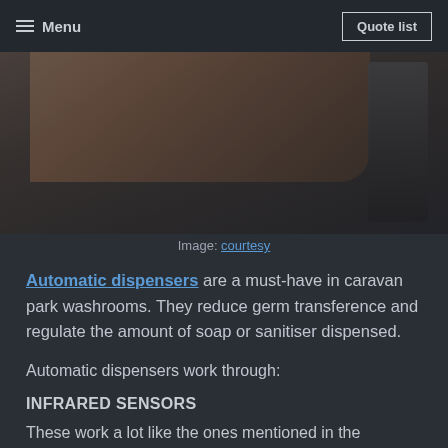Menu | Quote list
[Figure (photo): A hand using an automatic soap or sanitiser dispenser, with a black bottle-style dispenser visible on the right side of the image.]
Image: courtesy
Automatic dispensers are a must-have in caravan park washrooms. They reduce germ transference and regulate the amount of soap or sanitiser dispensed.
Automatic dispensers work through:
INFRARED SENSORS
These work a lot like the ones mentioned in the automatic toilet flushers. But instead of a flush, the